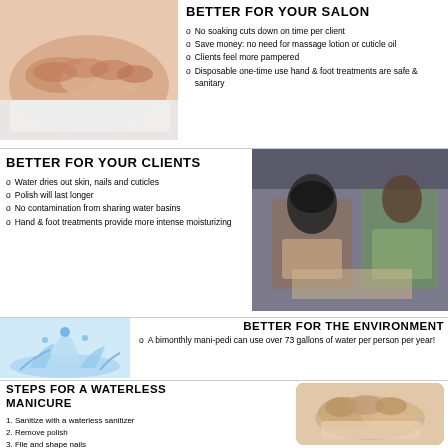[Figure (photo): Close-up photo of manicured hands resting on a white towel]
BETTER FOR YOUR SALON
No soaking cuts down on time per client
Save money: no need for massage lotion or cuticle oil
Clients feel more pampered
Disposable one-time use hand & foot treatments are safe & sanitary
BETTER FOR YOUR CLIENTS
Water dries out skin, nails and cuticles
Polish will last longer
No contamination from sharing water basins
Hand & foot treatments provide more intense moisturizing
[Figure (photo): Two women at a nail salon table, one receiving a manicure]
[Figure (photo): Water splash on white background]
BETTER FOR THE ENVIRONMENT
A bimonthly mani-pedi can use over 73 gallons of water per person per year!
STEPS FOR A WATERLESS MANICURE
1. Sanitize with a waterless sanitizer
2. Remove polish
3. File and shape nails
4. Apply Keratin Waterless Gloves & Socks
[Figure (photo): Hands receiving a treatment with a glove/wrap]